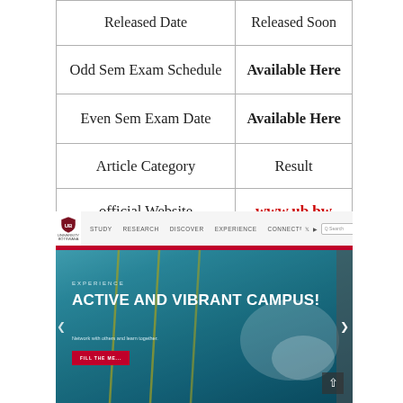|  |  |
| --- | --- |
| Released Date | Released Soon |
| Odd Sem Exam Schedule | Available Here |
| Even Sem Exam Date | Available Here |
| Article Category | Result |
| official Website | www.ub.bw |
[Figure (screenshot): Screenshot of the University of Botswana (www.ub.bw) official website homepage showing a swimming pool image with the text 'ACTIVE AND VIBRANT CAMPUS!' and navigation menu including STUDY, RESEARCH, DISCOVER, EXPERIENCE, CONNECT.]